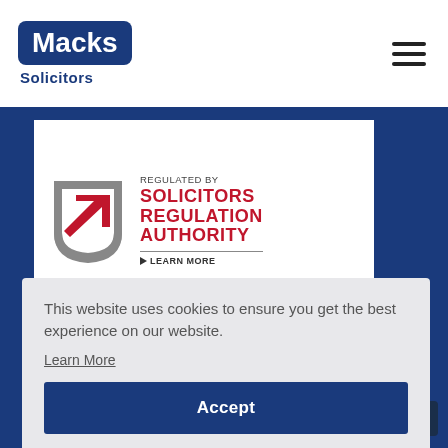[Figure (logo): Macks Solicitors logo with blue rounded rectangle containing white 'Macks' text and blue 'Solicitors' text below]
[Figure (logo): Solicitors Regulation Authority badge with SRA shield icon and text 'REGULATED BY SOLICITORS REGULATION AUTHORITY' with LEARN MORE link]
This website uses cookies to ensure you get the best experience on our website.
Learn More
Accept
Message
News